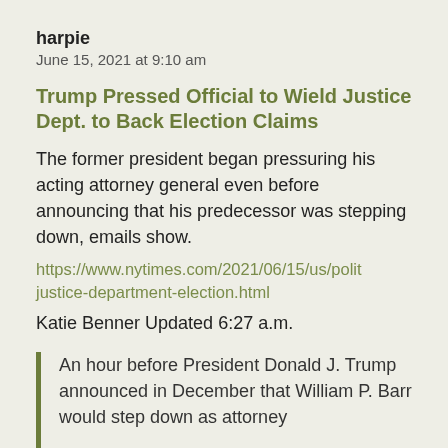harpie
June 15, 2021 at 9:10 am
Trump Pressed Official to Wield Justice Dept. to Back Election Claims
The former president began pressuring his acting attorney general even before announcing that his predecessor was stepping down, emails show.
https://www.nytimes.com/2021/06/15/us/polit justice-department-election.html
Katie Benner Updated 6:27 a.m.
An hour before President Donald J. Trump announced in December that William P. Barr would step down as attorney